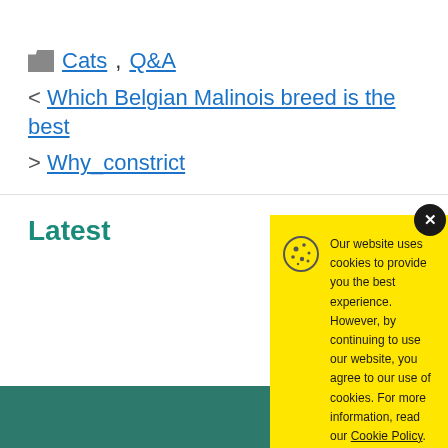Cats, Q&A
< Which Belgian Malinois breed is the best
> Why_ constrict
Latest
[Figure (screenshot): Cookie consent popup with yellow background. Contains cookie icon, text reading 'Our website uses cookies to provide you the best experience. However, by continuing to use our website, you agree to our use of cookies. For more information, read our Cookie Policy.' with an Accept button. A close (x) button appears in top right corner.]
Our website uses cookies to provide you the best experience. However, by continuing to use our website, you agree to our use of cookies. For more information, read our Cookie Policy.
Accept